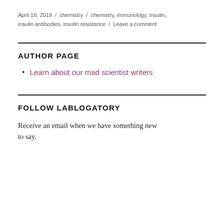April 18, 2019  /  chemistry  /  chemistry, immunology, insulin, insulin antibodies, insulin resistance  /  Leave a comment
AUTHOR PAGE
Learn about our mad scientist writers
FOLLOW LABLOGATORY
Receive an email when we have something new to say.